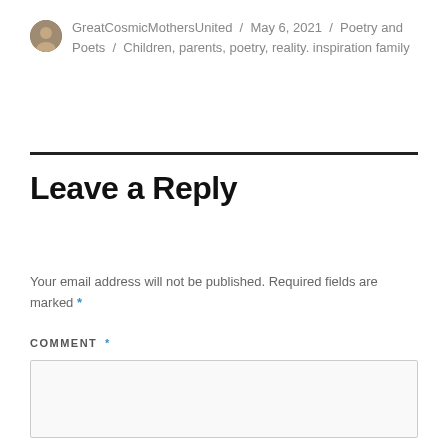GreatCosmicMothersUnited / May 6, 2021 / Poetry and Poets / Children, parents, poetry, reality. inspiration family
Leave a Reply
Your email address will not be published. Required fields are marked *
COMMENT *